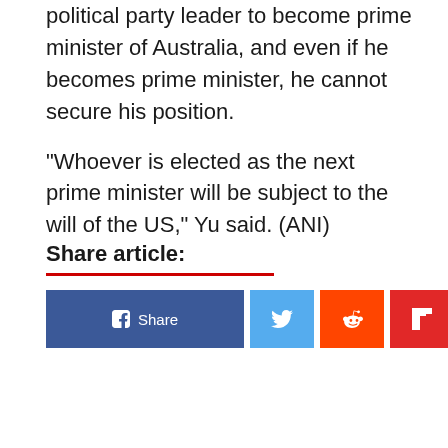political party leader to become prime minister of Australia, and even if he becomes prime minister, he cannot secure his position.

"Whoever is elected as the next prime minister will be subject to the will of the US," Yu said. (ANI)
Share article: